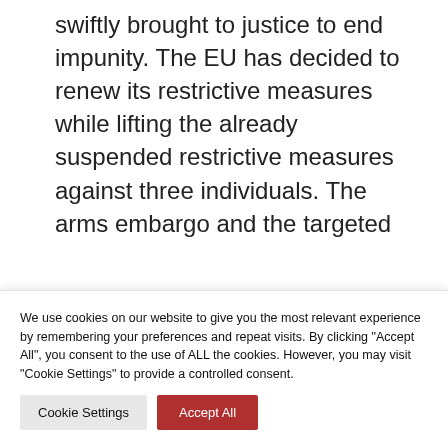swiftly brought to justice to end impunity. The EU has decided to renew its restrictive measures while lifting the already suspended restrictive measures against three individuals. The arms embargo and the targeted
We use cookies on our website to give you the most relevant experience by remembering your preferences and repeat visits. By clicking "Accept All", you consent to the use of ALL the cookies. However, you may visit "Cookie Settings" to provide a controlled consent.
Cookie Settings
Accept All